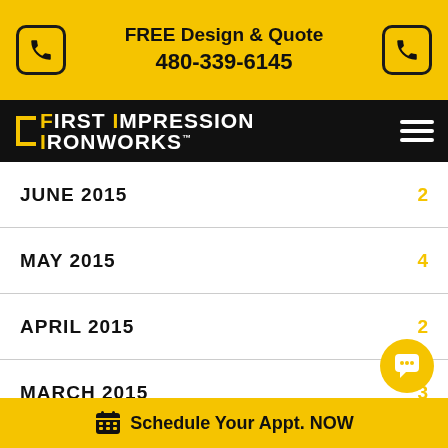FREE Design & Quote 480-339-6145
[Figure (logo): First Impression Ironworks logo with yellow bracket and white text on black navigation bar]
JUNE 2015  2
MAY 2015  4
APRIL 2015  2
MARCH 2015  3
FEBRUARY 2015  5
JANUARY 2015
Schedule Your Appt. NOW